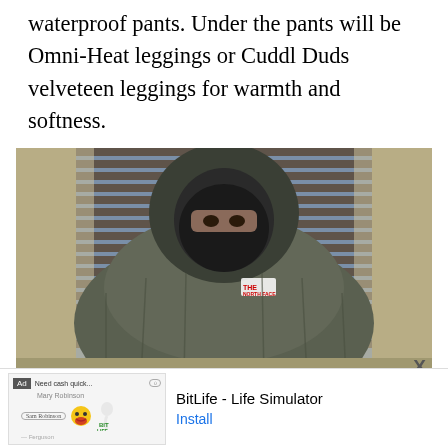waterproof pants. Under the pants will be Omni-Heat leggings or Cuddl Duds velveteen leggings for warmth and softness.
[Figure (photo): Person wearing a dark olive/grey North Face puffer jacket with hood up and a black face mask/balaclava, standing in front of window blinds]
[Figure (screenshot): Mobile advertisement banner for BitLife - Life Simulator app, showing the BitLife logo with a yellow smiley face and sperm mascot, with an Install button]